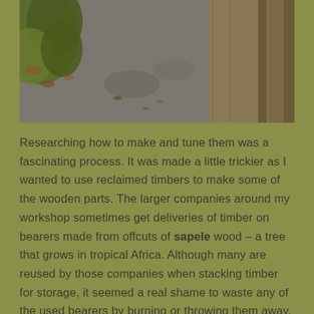[Figure (photo): Outdoor scene showing a paved/tarmac area with wooden crates or timber stacks visible in the upper right, and some foliage/leaves in the upper left corner, viewed from above.]
Researching how to make and tune them was a fascinating process. It was made a little trickier as I wanted to use reclaimed timbers to make some of the wooden parts. The larger companies around my workshop sometimes get deliveries of timber on bearers made from offcuts of sapele wood – a tree that grows in tropical Africa. Although many are reused by those companies when stacking timber for storage, it seemed a real shame to waste any of the used bearers by burning or throwing them away, especially as sapele is a great timber to use for xylophone bars. I'm very glad to have found a better use for the wood.